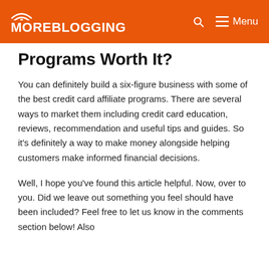MOREBLOGGING   Menu
Programs Worth It?
You can definitely build a six-figure business with some of the best credit card affiliate programs. There are several ways to market them including credit card education, reviews, recommendation and useful tips and guides. So it's definitely a way to make money alongside helping customers make informed financial decisions.
Well, I hope you've found this article helpful. Now, over to you. Did we leave out something you feel should have been included? Feel free to let us know in the comments section below! Also